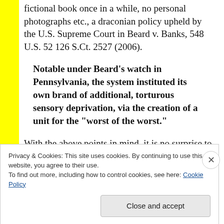fictional book once in a while, no personal photographs etc., a draconian policy upheld by the U.S. Supreme Court in Beard v. Banks, 548 U.S. 52 126 S.Ct. 2527 (2006).
Notable under Beard’s watch in Pennsylvania, the system instituted its own brand of additional, torturous sensory deprivation, via the creation of a unit for the “worst of the worst.”
With the above points in mind, it is no surprise to
Privacy & Cookies: This site uses cookies. By continuing to use this website, you agree to their use.
To find out more, including how to control cookies, see here: Cookie Policy